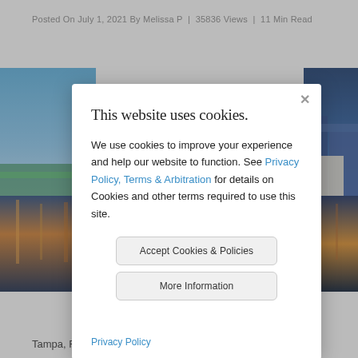Posted On July 1, 2021 By Melissa P | 35836 Views | 11 Min Read
[Figure (photo): Tampa, Florida, USA downtown city skyline over the river at dusk with colorful reflections on water]
This website uses cookies.
We use cookies to improve your experience and help our website to function. See Privacy Policy, Terms & Arbitration for details on Cookies and other terms required to use this site.
Accept Cookies & Policies
More Information
Privacy Policy
Tampa, Florida, USA downtown city skyline over